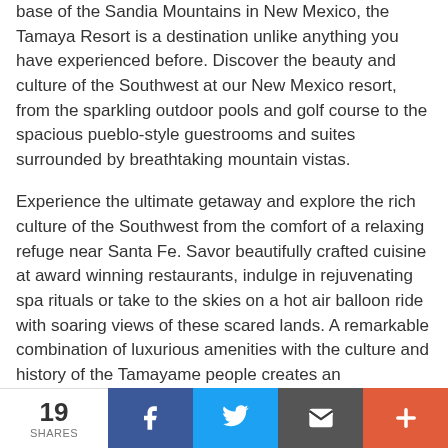base of the Sandia Mountains in New Mexico, the Tamaya Resort is a destination unlike anything you have experienced before. Discover the beauty and culture of the Southwest at our New Mexico resort, from the sparkling outdoor pools and golf course to the spacious pueblo-style guestrooms and suites surrounded by breathtaking mountain vistas.
Experience the ultimate getaway and explore the rich culture of the Southwest from the comfort of a relaxing refuge near Santa Fe. Savor beautifully crafted cuisine at award winning restaurants, indulge in rejuvenating spa rituals or take to the skies on a hot air balloon ride with soaring views of these scared lands. A remarkable combination of luxurious amenities with the culture and history of the Tamayame people creates an outstanding
19 SHARES